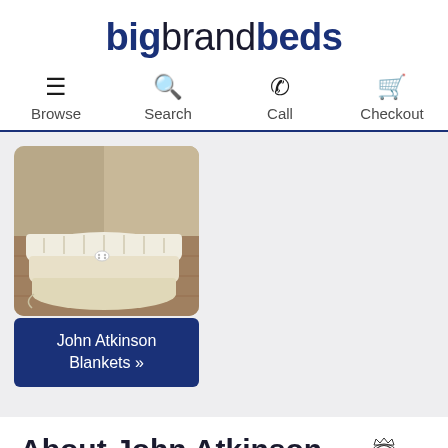bigbrandbeds
Browse | Search | Call | Checkout
[Figure (photo): Folded cream/white blankets stacked on a surface with a wooden background, with a small white button/fastener visible.]
John Atkinson Blankets »
About John Atkinson
John Atkinson blankets have
[Figure (illustration): Heraldic crest/coat of arms illustration for John Atkinson brand.]